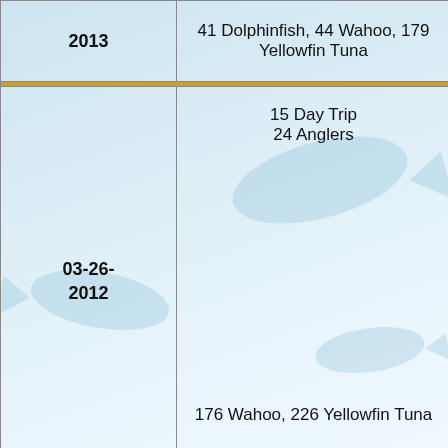| Date | Trip Info / Catch |
| --- | --- |
| 2013 | 41 Dolphinfish, 44 Wahoo, 179 Yellowfin Tuna |
| 03-26-2012 | 15 Day Trip
24 Anglers

176 Wahoo, 226 Yellowfin Tuna |